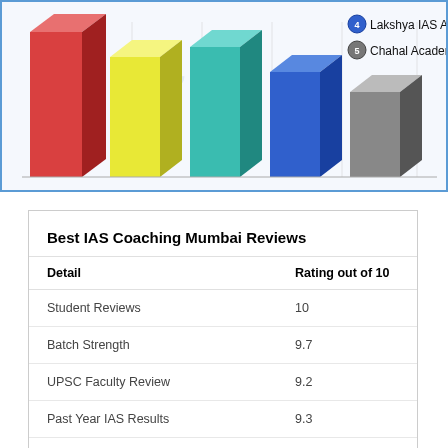[Figure (bar-chart): Partial view of a 3D bar chart comparing IAS coaching academies. Visible legend items: 4 - Lakshya IAS Academy, 5 - Chahal Academy. Colored bars visible: red, yellow, teal, blue, grey.]
| Detail | Rating out of 10 |
| --- | --- |
| Student Reviews | 10 |
| Batch Strength | 9.7 |
| UPSC Faculty Review | 9.2 |
| Past Year IAS Results | 9.3 |
| KSG IAS IAS Infrastructure Review | 9.8 |